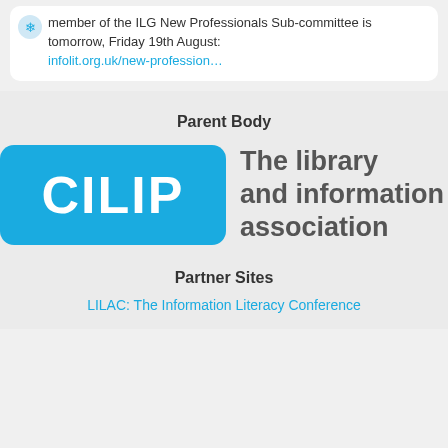member of the ILG New Professionals Sub-committee is tomorrow, Friday 19th August: infolit.org.uk/new-profession…
Parent Body
[Figure (logo): CILIP logo — blue rounded rectangle with white bold text 'CILIP' on the left, and dark gray text 'The library and information association' on the right]
Partner Sites
LILAC: The Information Literacy Conference